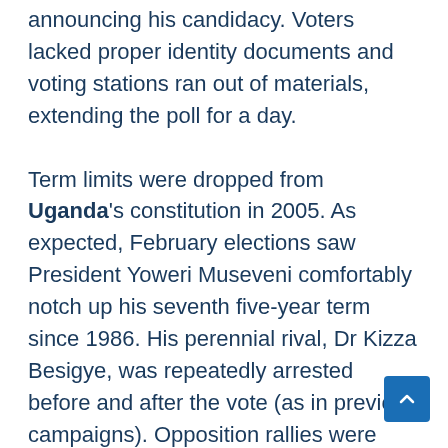announcing his candidacy. Voters lacked proper identity documents and voting stations ran out of materials, extending the poll for a day.
Term limits were dropped from Uganda's constitution in 2005. As expected, February elections saw President Yoweri Museveni comfortably notch up his seventh five-year term since 1986. His perennial rival, Dr Kizza Besigye, was repeatedly arrested before and after the vote (as in previous campaigns). Opposition rallies were broken up and social media platforms were shut down, raising tensions. Like all Uganda's elections since 2001, allegations of ballot rigging and voter intimidation were insufficient to overturn the result.